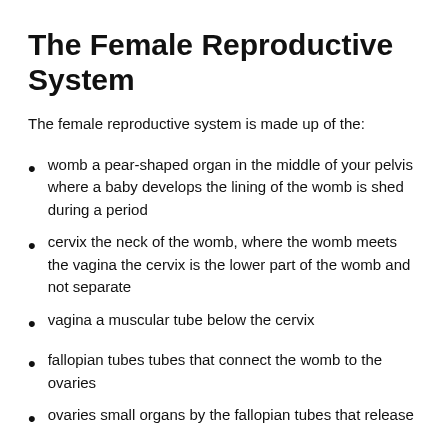The Female Reproductive System
The female reproductive system is made up of the:
womb a pear-shaped organ in the middle of your pelvis where a baby develops the lining of the womb is shed during a period
cervix the neck of the womb, where the womb meets the vagina the cervix is the lower part of the womb and not separate
vagina a muscular tube below the cervix
fallopian tubes tubes that connect the womb to the ovaries
ovaries small organs by the fallopian tubes that release